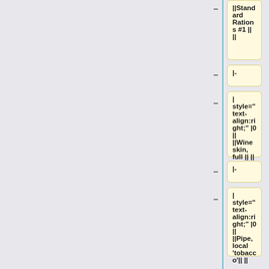||Standard Rations #1 || ||
|-
| style="text-align:right;" |0 || ||Wine skin, full || ||
|-
| style="text-align:right;" |0 || ||Pipe, local 'tobacco'|| ||
|-
| style="text-align:right;" |0 || ||Water skin, empty|| ||